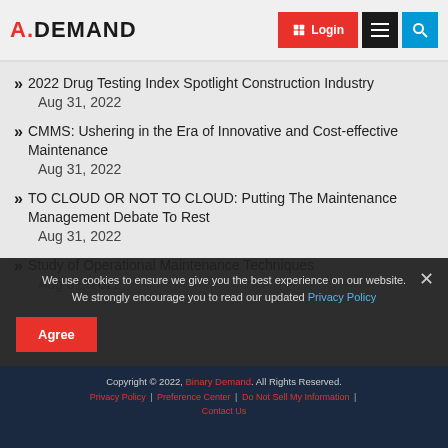A.DEMAND | Login | Menu | Search
2022 Drug Testing Index Spotlight Construction Industry
Aug 31, 2022
CMMS: Ushering in the Era of Innovative and Cost-effective Maintenance
Aug 31, 2022
TO CLOUD OR NOT TO CLOUD: Putting The Maintenance Management Debate To Rest
Aug 31, 2022
Study of Operational Maintenance Techniques
Aug 31, 2022
We use cookies to ensure we give you the best experience on our website. We strongly encourage you to read our updated Privacy Policy
Agree
Copyright © 2022, Binary Demand. All Rights Reserved.
Privacy Policy | Preference Center | Do Not Sell My Information | Contact Us